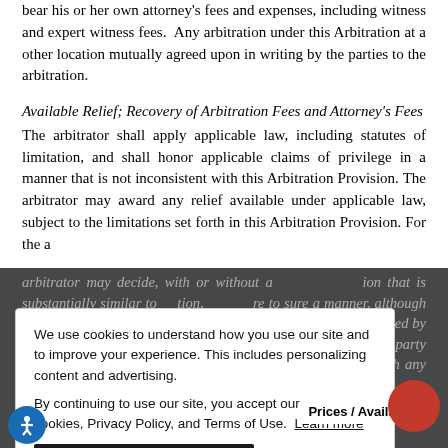bear his or her own attorney's fees and expenses, including witness and expert witness fees. Any arbitration under this Arbitration at a other location mutually agreed upon in writing by the parties to the arbitration.
Available Relief; Recovery of Arbitration Fees and Attorney's Fees
The arbitrator shall apply applicable law, including statutes of limitation, and shall honor applicable claims of privilege in a manner that is not inconsistent with this Arbitration Provision. The arbitrator may award any relief available under applicable law, subject to the limitations set forth in this Arbitration Provision. For the a...
arbitrator may decide, with or without a ...ion that is substantially similar to ...here to sure a manner, although inc... arbitration award must include w... supported by substantial practice or by the failure of the party or... substantially evidence. An award may be filed with any court hav... jsdiction...
We use cookies to understand how you use our site and to improve your experience. This includes personalizing content and advertising.
By continuing to use our site, you accept our use of cookies, Privacy Policy, and Terms of Use. Learn more
I accept